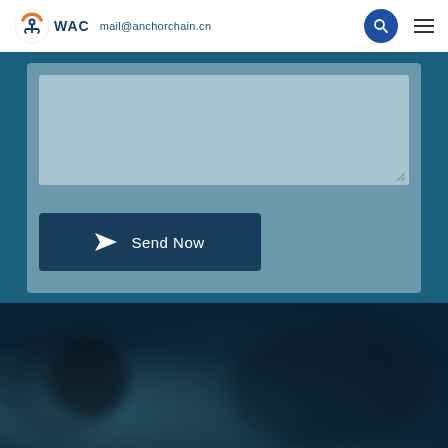WAC | mail@anchorchain.cn
[Figure (screenshot): Contact form with textarea and Send Now button on a blue/steel background]
[Figure (photo): Dark blurred background photo at bottom of page]